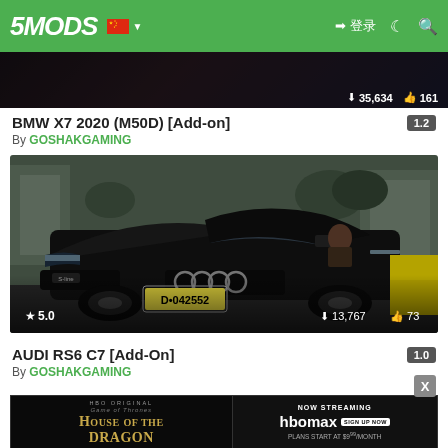5MODS
[Figure (screenshot): Partial game screenshot showing car mod thumbnail with download count 35,634 and likes 161]
BMW X7 2020 (M50D) [Add-on] 1.2
By GOSHAKGAMING
[Figure (screenshot): Game screenshot showing a black Audi RS6 C7 car mod with license plate D-042552. Star rating 5.0, downloads 13,767, likes 73]
AUDI RS6 C7 [Add-On] 1.0
By GOSHAKGAMING
[Figure (screenshot): Advertisement banner: HBO Original Game of Thrones - House of the Dragon, Now Streaming on HBOmax, Sign Up Now, Plans start at $9/month]